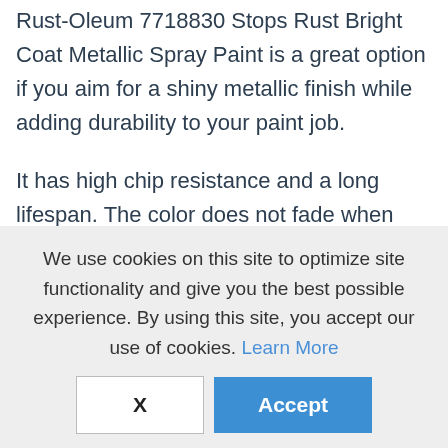Rust-Oleum 7718830 Stops Rust Bright Coat Metallic Spray Paint is a great option if you aim for a shiny metallic finish while adding durability to your paint job.
It has high chip resistance and a long lifespan. The color does not fade when facing the test of time and maintains its shine. It uses any-angle spray technology which means it is easy to use
We use cookies on this site to optimize site functionality and give you the best possible experience. By using this site, you accept our use of cookies. Learn More
Accept
X